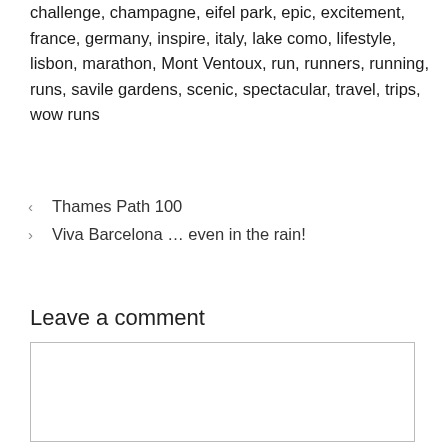challenge, champagne, eifel park, epic, excitement, france, germany, inspire, italy, lake como, lifestyle, lisbon, marathon, Mont Ventoux, run, runners, running, runs, savile gardens, scenic, spectacular, travel, trips, wow runs
< Thames Path 100
> Viva Barcelona … even in the rain!
Leave a comment